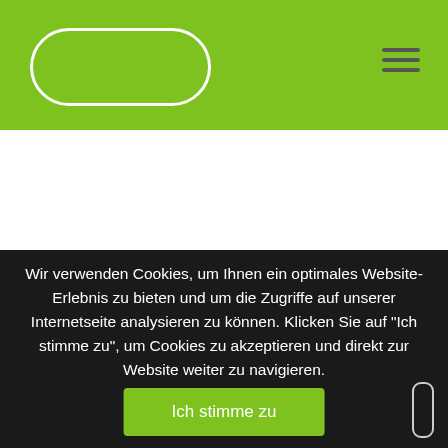[Figure (logo): Green header bar with white pill/oval logo shape on the left and hamburger menu icon on the right]
Wir verwenden Cookies, um Ihnen ein optimales Website-Erlebnis zu bieten und um die Zugriffe auf unserer Internetseite analysieren zu können. Klicken Sie auf "Ich stimme zu", um Cookies zu akzeptieren und direkt zur Website weiter zu navigieren.
Ich stimme zu